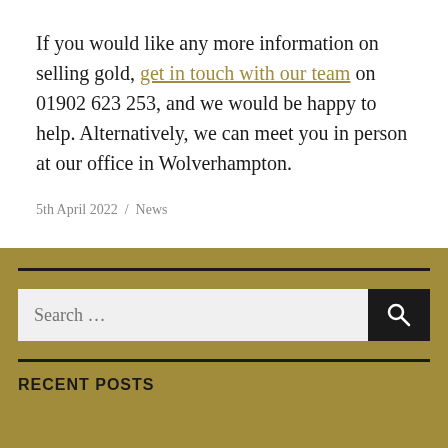If you would like any more information on selling gold, get in touch with our team on 01902 623 253, and we would be happy to help. Alternatively, we can meet you in person at our office in Wolverhampton.
5th April 2022 / News
RECENT POSTS